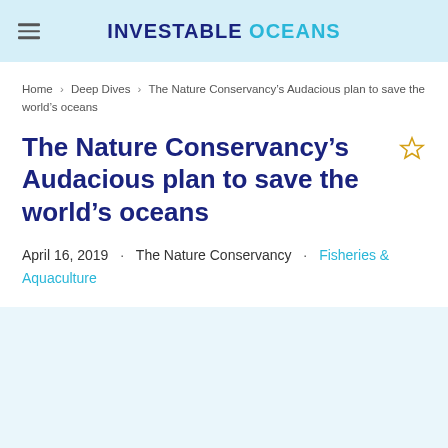INVESTABLE OCEANS
Home › Deep Dives › The Nature Conservancy's Audacious plan to save the world's oceans
The Nature Conservancy's Audacious plan to save the world's oceans
April 16, 2019 · The Nature Conservancy · Fisheries & Aquaculture